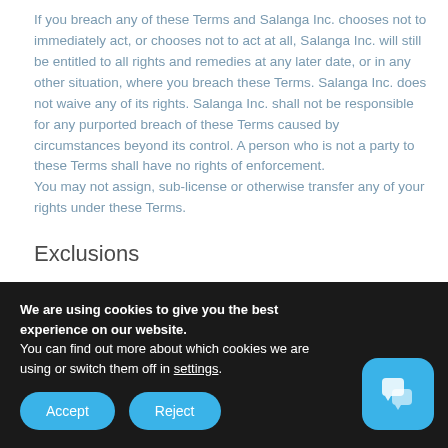If you breach any of these Terms and Salanga Inc. chooses not to immediately act, or chooses not to act at all, Salanga Inc. will still be entitled to all rights and remedies at any later date, or in any other situation, where you breach these Terms. Salanga Inc. does not waive any of its rights. Salanga Inc. shall not be responsible for any purported breach of these Terms caused by circumstances beyond its control. A person who is not a party to these Terms shall have no rights of enforcement.
You may not assign, sub-license or otherwise transfer any of your rights under these Terms.
Exclusions
As set out above, some jurisdictions do not allow the
We are using cookies to give you the best experience on our website.
You can find out more about which cookies we are using or switch them off in settings.